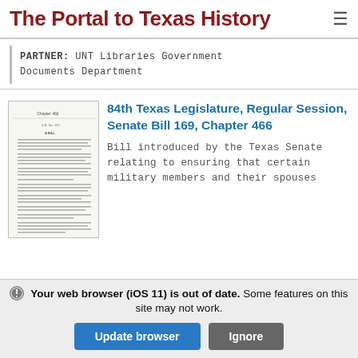The Portal to Texas History
PARTNER: UNT Libraries Government Documents Department
84th Texas Legislature, Regular Session, Senate Bill 169, Chapter 466
[Figure (photo): Thumbnail image of a legislative document page showing Chapter 466 text]
Bill introduced by the Texas Senate relating to ensuring that certain military members and their spouses
Your web browser (iOS 11) is out of date. Some features on this site may not work.